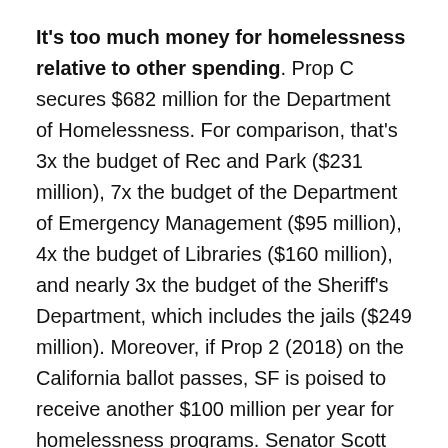It's too much money for homelessness relative to other spending. Prop C secures $682 million for the Department of Homelessness. For comparison, that's 3x the budget of Rec and Park ($231 million), 7x the budget of the Department of Emergency Management ($95 million), 4x the budget of Libraries ($160 million), and nearly 3x the budget of the Sheriff's Department, which includes the jails ($249 million). Moreover, if Prop 2 (2018) on the California ballot passes, SF is poised to receive another $100 million per year for homelessness programs. Senator Scott Wiener also recently secured $30 million from the state budget for homeless youth programs. Does SF need $812 million per year for the homeless?! No.
3. It's more money than SF needs. San Francisco is actually doing a lot right now to solve the homeless…